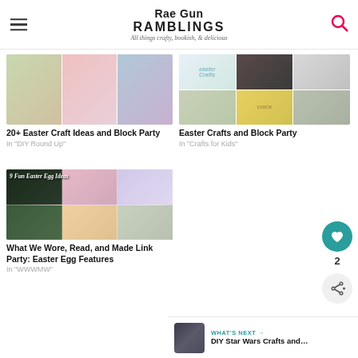Rae Gun Ramblings — All things crafty, bookish, & delicious
[Figure (photo): Collage of Easter craft ideas]
20+ Easter Craft Ideas and Block Party
In "DIY Round Up"
[Figure (photo): Collage of Easter Crafts]
Easter Crafts and Block Party
In "Crafts for Kids"
[Figure (photo): Collage of 9 Fun Easter Egg Ideas]
What We Wore, Read, and Made Link Party: Easter Egg Features
In "WWWMW"